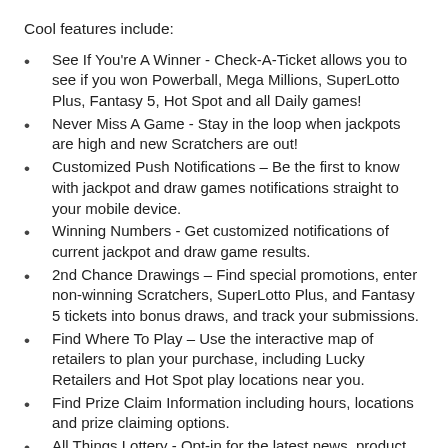Cool features include:
See If You're A Winner - Check-A-Ticket allows you to see if you won Powerball, Mega Millions, SuperLotto Plus, Fantasy 5, Hot Spot and all Daily games!
Never Miss A Game - Stay in the loop when jackpots are high and new Scratchers are out!
Customized Push Notifications – Be the first to know with jackpot and draw games notifications straight to your mobile device.
Winning Numbers - Get customized notifications of current jackpot and draw game results.
2nd Chance Drawings – Find special promotions, enter non-winning Scratchers, SuperLotto Plus, and Fantasy 5 tickets into bonus draws, and track your submissions.
Find Where To Play – Use the interactive map of retailers to plan your purchase, including Lucky Retailers and Hot Spot play locations near you.
Find Prize Claim Information including hours, locations and prize claiming options.
All Things Lottery - Opt-in for the latest news, product updates and 2nd Chance promotions.